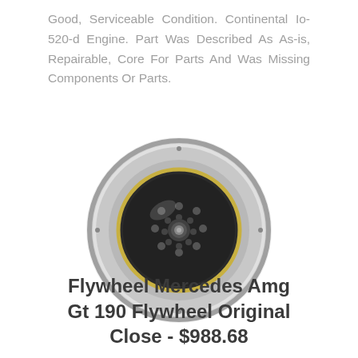Good, Serviceable Condition. Continental Io-520-d Engine. Part Was Described As As-is, Repairable, Core For Parts And Was Missing Components Or Parts.
[Figure (photo): A flywheel component, circular in shape, metallic silver/gray color with a dark center hub containing multiple holes, set against a white background.]
Flywheel Mercedes Amg Gt 190 Flywheel Original Close - $988.68